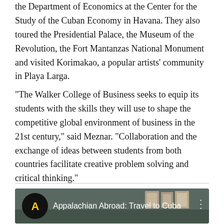the Department of Economics at the Center for the Study of the Cuban Economy in Havana. They also toured the Presidential Palace, the Museum of the Revolution, the Fort Mantanzas National Monument and visited Korimakao, a popular artists' community in Playa Larga.
"The Walker College of Business seeks to equip its students with the skills they will use to shape the competitive global environment of business in the 21st century," said Meznar. "Collaboration and the exchange of ideas between students from both countries facilitate creative problem solving and critical thinking."
[Figure (screenshot): YouTube video thumbnail for 'Appalachian Abroad: Travel to Cuba' with the Appalachian State University logo on the left and a three-dot menu icon on the right]